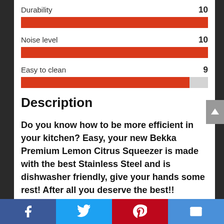[Figure (bar-chart): Product Ratings]
Description
Do you know how to be more efficient in your kitchen? Easy, your new Bekka Premium Lemon Citrus Squeezer is made with the best Stainless Steel and is dishwasher friendly, give your hands some rest! After all you deserve the best!!
Facebook | Twitter | Pinterest | Email